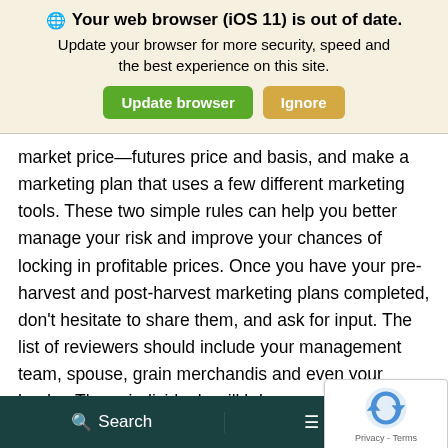[Figure (screenshot): Browser update notification banner with globe icon, bold title 'Your web browser (iOS 11) is out of date.', subtitle text, and two buttons: 'Update browser' (green) and 'Ignore' (yellow/orange)]
market price—futures price and basis, and make a marketing plan that uses a few different marketing tools. These two simple rules can help you better manage your risk and improve your chances of locking in profitable prices. Once you have your pre-harvest and post-harvest marketing plans completed, don't hesitate to share them, and ask for input. The list of reviewers should include your management team, spouse, grain merchandis and even your lender. These individuals will h keep you accountable to your marketing goal ensure they are reasonable. This is especially true as
Search   Menu